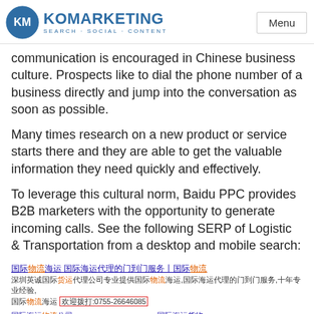KO MARKETING SEARCH·SOCIAL·CONTENT | Menu
communication is encouraged in Chinese business culture. Prospects like to dial the phone number of a business directly and jump into the conversation as soon as possible.
Many times research on a new product or service starts there and they are able to get the valuable information they need quickly and effectively.
To leverage this cultural norm, Baidu PPC provides B2B marketers with the opportunity to generate incoming calls. See the following SERP of Logistic & Transportation from a desktop and mobile search:
[Figure (screenshot): Baidu search result for 国际物流海运 showing a Chinese logistics company listing with phone number 0755-26646085 highlighted in a red box, with sub-links for 国际海运物流公司, 国际海运货价格表, 国际海运货物, 国际海运到门]